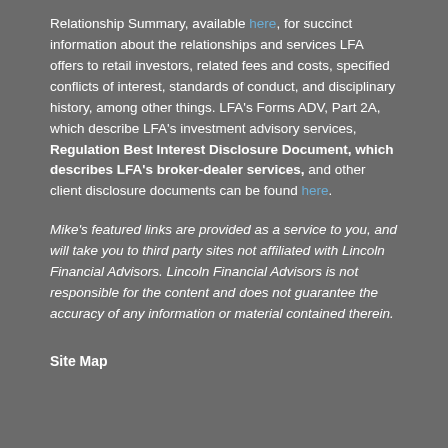Relationship Summary, available here, for succinct information about the relationships and services LFA offers to retail investors, related fees and costs, specified conflicts of interest, standards of conduct, and disciplinary history, among other things. LFA's Forms ADV, Part 2A, which describe LFA's investment advisory services, Regulation Best Interest Disclosure Document, which describes LFA's broker-dealer services, and other client disclosure documents can be found here.
Mike's featured links are provided as a service to you, and will take you to third party sites not affiliated with Lincoln Financial Advisors. Lincoln Financial Advisors is not responsible for the content and does not guarantee the accuracy of any information or material contained therein.
Site Map